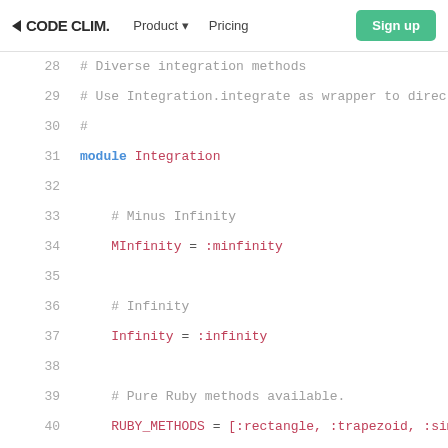CODE CLIM. | Product | Pricing | Sign up | Login | Developers
[Figure (screenshot): Code Climate website navigation bar with logo, Product dropdown, Pricing link, Sign up button (green), Login and Developers dropdown items visible]
28    # Diverse integration methods
29    # Use Integration.integrate as wrapper to direc
30    #
31    module Integration
32
33        # Minus Infinity
34        MInfinity = :minfinity
35
36        # Infinity
37        Infinity = :infinity
38
39        # Pure Ruby methods available.
40        RUBY_METHODS = [:rectangle, :trapezoid, :simp
41                        :gauss, :romberg, :monte_carlo
42                        :simpson3by8, :boole, :open_tr
43